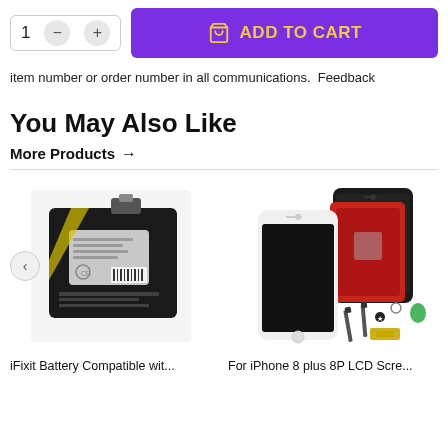item number or order number in all communications.  Feedback
You May Also Like
More Products →
[Figure (photo): iFixit battery compatible with a smartphone, black rectangular battery pack with label and connectors]
iFixit Battery Compatible wit...
[Figure (photo): For iPhone 8 plus 8P LCD screen replacement kit showing black and white phone screens plus tools]
For iPhone 8 plus 8P LCD Scre...